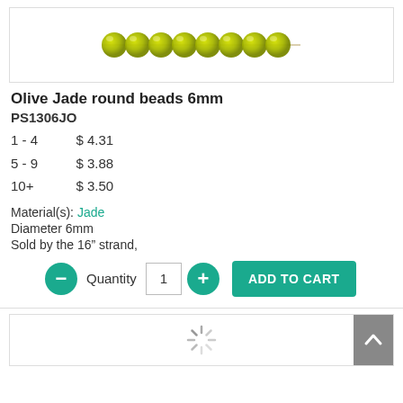[Figure (photo): A strand of olive/yellow-green jade round beads, 6mm, shown in a row against white background]
Olive Jade round beads 6mm
PS1306JO
1 - 4    $ 4.31
5 - 9    $ 3.88
10+    $ 3.50
Material(s): Jade
Diameter 6mm
Sold by the 16" strand,
Quantity 1  ADD TO CART
[Figure (other): Loading spinner icon at bottom of page]